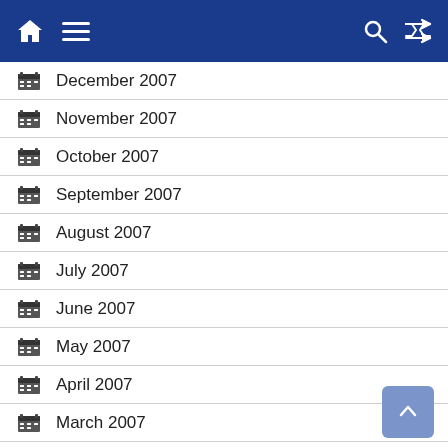Navigation bar with home, menu, search, and shuffle icons
December 2007
November 2007
October 2007
September 2007
August 2007
July 2007
June 2007
May 2007
April 2007
March 2007
February 2007